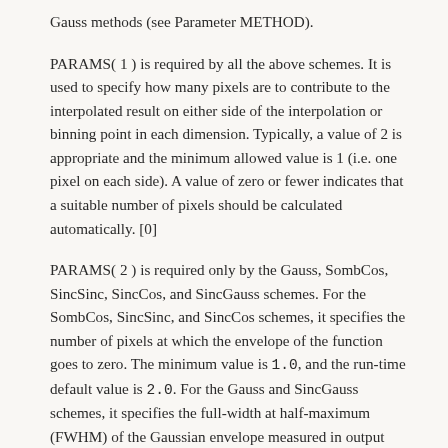Gauss methods (see Parameter METHOD).
PARAMS( 1 ) is required by all the above schemes. It is used to specify how many pixels are to contribute to the interpolated result on either side of the interpolation or binning point in each dimension. Typically, a value of 2 is appropriate and the minimum allowed value is 1 (i.e. one pixel on each side). A value of zero or fewer indicates that a suitable number of pixels should be calculated automatically. [0]
PARAMS( 2 ) is required only by the Gauss, SombCos, SincSinc, SincCos, and SincGauss schemes. For the SombCos, SincSinc, and SincCos schemes, it specifies the number of pixels at which the envelope of the function goes to zero. The minimum value is 1.0, and the run-time default value is 2.0. For the Gauss and SincGauss schemes, it specifies the full-width at half-maximum (FWHM) of the Gaussian envelope measured in output pixels. The